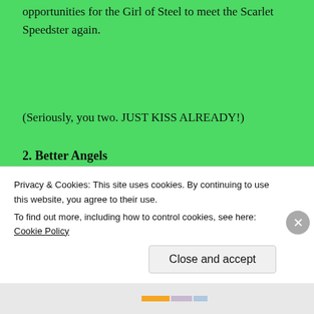opportunities for the Girl of Steel to meet the Scarlet Speedster again.
(Seriously, you two. JUST KISS ALREADY!)
2. Better Angels
The finale of this show was SO CLOSE to perfect. The reason why I put this episode at number 2 is that I really
Privacy & Cookies: This site uses cookies. By continuing to use this website, you agree to their use.
To find out more, including how to control cookies, see here: Cookie Policy
Close and accept